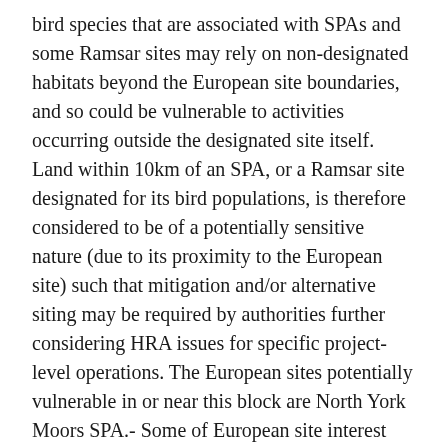bird species that are associated with SPAs and some Ramsar sites may rely on non-designated habitats beyond the European site boundaries, and so could be vulnerable to activities occurring outside the designated site itself. Land within 10km of an SPA, or a Ramsar site designated for its bird populations, is therefore considered to be of a potentially sensitive nature (due to its proximity to the European site) such that mitigation and/or alternative siting may be required by authorities further considering HRA issues for specific project-level operations. The European sites potentially vulnerable in or near this block are North York Moors SPA.- Some of European site interest features (e.g. birds species; fish; marine mammals) are potentially sensitive to noise or vibration effects associated with Stage A activities (as well as Stage B, C and D activities). Land within approximately 1km of a European site supporting